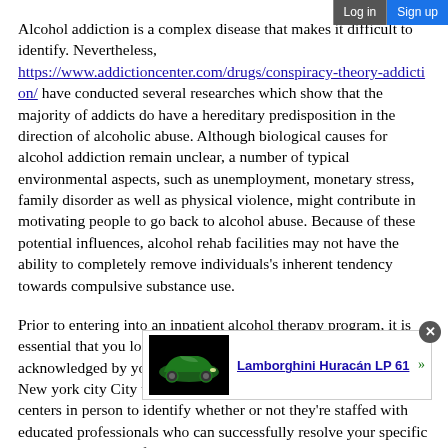Alcohol addiction is a complex disease that makes it difficult to identify. Nevertheless, https://www.addictioncenter.com/drugs/conspiracy-theory-addiction/ have conducted several researches which show that the majority of addicts do have a hereditary predisposition in the direction of alcoholic abuse. Although biological causes for alcohol addiction remain unclear, a number of typical environmental aspects, such as unemployment, monetary stress, family disorder as well as physical violence, might contribute in motivating people to go back to alcohol abuse. Because of these potential influences, alcohol rehab facilities may not have the ability to completely remove individuals's inherent tendency towards compulsive substance use.
Prior to entering into an inpatient alcohol therapy program, it is essential that you locate a facility that's both licensed as well as acknowledged by your healthcare company. When looking for a New york city City therapy program, it is necessary to go to the centers in person to identify whether or not they're staffed with educated professionals who can successfully resolve your specific needs. During your first check out, ask about a program's education ... reports that you ... nd symptoms ... sort of behavior modifications will be provided to aid you handle your
[Figure (other): Ad overlay showing a Lamborghini Huracán LP 61 car thumbnail with a close (X) button and link text 'Lamborghini Huracán LP 61' with a green arrow]